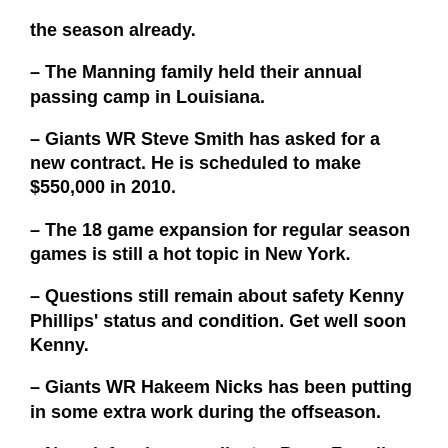the season already.
– The Manning family held their annual passing camp in Louisiana.
– Giants WR Steve Smith has asked for a new contract. He is scheduled to make $550,000 in 2010.
– The 18 game expansion for regular season games is still a hot topic in New York.
– Questions still remain about safety Kenny Phillips' status and condition. Get well soon Kenny.
– Giants WR Hakeem Nicks has been putting in some extra work during the offseason.
– New defensive coordinator Perry Fewell continues to give the account of his plans and preparations for